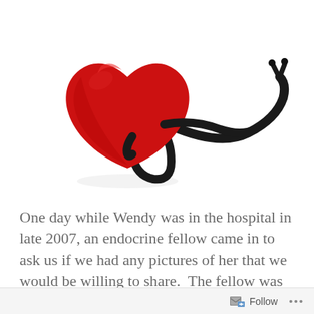[Figure (photo): A red heart-shaped object with a black stethoscope resting against it, on a white background.]
One day while Wendy was in the hospital in late 2007, an endocrine fellow came in to ask us if we had any pictures of her that we would be willing to share.  The fellow was presenting Wendy’s medical case at Grand
Follow ...